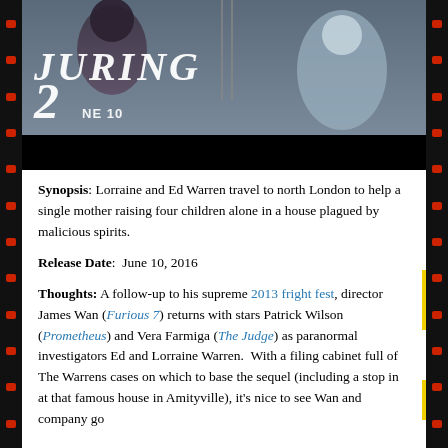[Figure (photo): Movie promotional image for The Conjuring 2, showing dark atmospheric scene with partial title text 'JURING 2' and 'NE 10' visible, dark background below]
Synopsis: Lorraine and Ed Warren travel to north London to help a single mother raising four children alone in a house plagued by malicious spirits.
Release Date:  June 10, 2016
Thoughts: A follow-up to his supreme 2013 fright fest, director James Wan (Furious 7) returns with stars Patrick Wilson (Prometheus) and Vera Farmiga (The Judge) as paranormal investigators Ed and Lorraine Warren.  With a filing cabinet full of The Warrens cases on which to base the sequel (including a stop in at that famous house in Amityville), it's nice to see Wan and company go